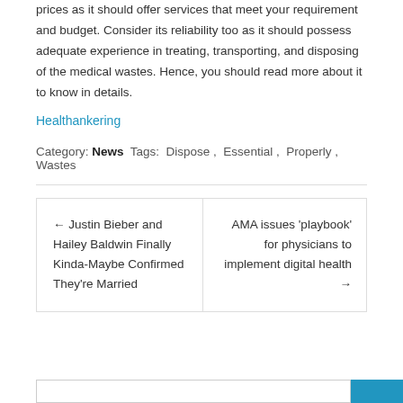prices as it should offer services that meet your requirement and budget. Consider its reliability too as it should possess adequate experience in treating, transporting, and disposing of the medical wastes. Hence, you should read more about it to know in details.
Healthankering
Category: News  Tags: Dispose , Essential , Properly , Wastes
← Justin Bieber and Hailey Baldwin Finally Kinda-Maybe Confirmed They're Married
AMA issues 'playbook' for physicians to implement digital health →